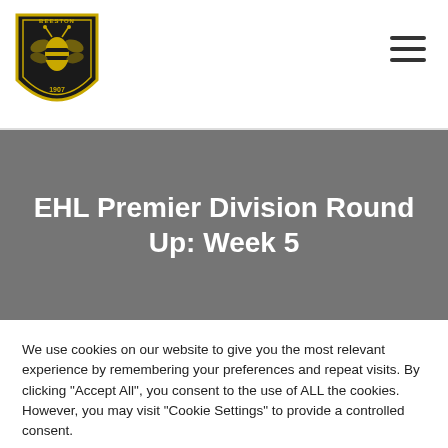[Figure (logo): Beeston HC club badge/crest — black and yellow shield with bee emblem and '1907' text]
[Figure (other): Hamburger menu icon — three horizontal lines]
EHL Premier Division Round Up: Week 5
We use cookies on our website to give you the most relevant experience by remembering your preferences and repeat visits. By clicking "Accept All", you consent to the use of ALL the cookies. However, you may visit "Cookie Settings" to provide a controlled consent.
Cookie Settings | Accept All